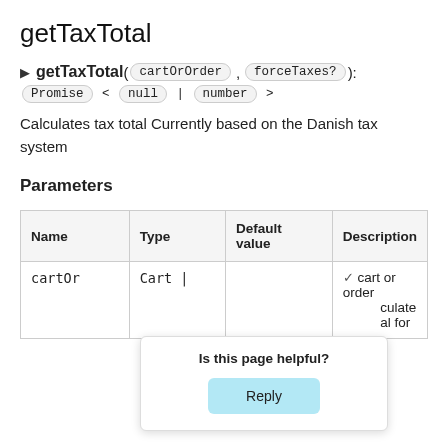getTaxTotal
► getTaxTotal( cartOrOrder , forceTaxes? ): Promise < null | number >
Calculates tax total Currently based on the Danish tax system
Parameters
| Name | Type | Default value | Description |
| --- | --- | --- | --- |
| cartOr… | Cart | |  | cart or order … culate … al for |
Is this page helpful?
Reply